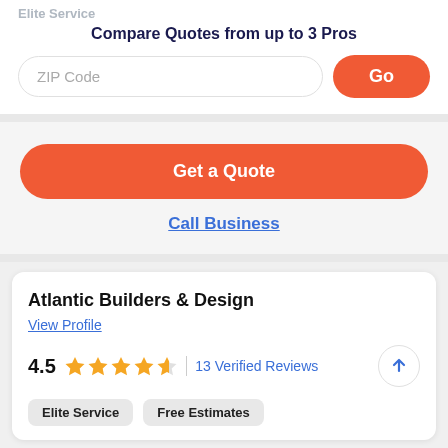Elite Service
Compare Quotes from up to 3 Pros
ZIP Code
Go
Get a Quote
Call Business
Atlantic Builders & Design
View Profile
4.5   13 Verified Reviews
Elite Service   Free Estimates